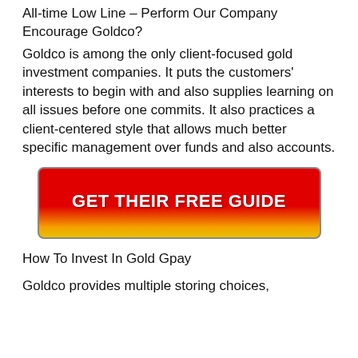All-time Low Line – Perform Our Company Encourage Goldco?
Goldco is among the only client-focused gold investment companies. It puts the customers' interests to begin with and also supplies learning on all issues before one commits. It also practices a client-centered style that allows much better specific management over funds and also accounts.
[Figure (other): Red gradient call-to-action button with text GET THEIR FREE GUIDE]
How To Invest In Gold Gpay
Goldco provides multiple storing choices,